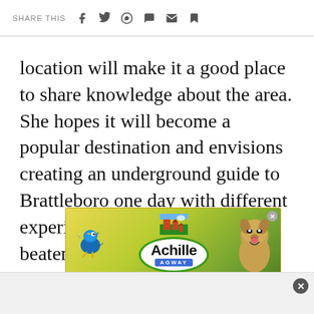SHARE THIS
location will make it a good place to share knowledge about the area. She hopes it will become a popular destination and envisions creating an underground guide to Brattleboro one day with different experiences or places off the beaten path.
[Figure (advertisement): Achille Agway advertisement banner featuring a blue jay bird, a dog, farm fields background, and the Achille Agway logo in a white oval with green border.]